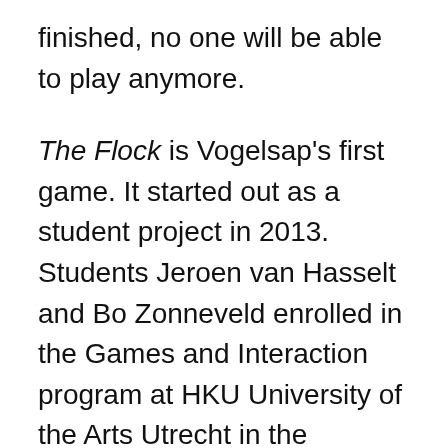finished, no one will be able to play anymore.
The Flock is Vogelsap's first game. It started out as a student project in 2013. Students Jeroen van Hasselt and Bo Zonneveld enrolled in the Games and Interaction program at HKU University of the Arts Utrecht in the Netherlands and were working on the game for school. It wasn't until a trailer was released and popular media outlets picked up on it that The Flock gained some interest. A closed alpha version of the game was released with 10,000 sign-ups and 4,500 players On October 31, 2014.